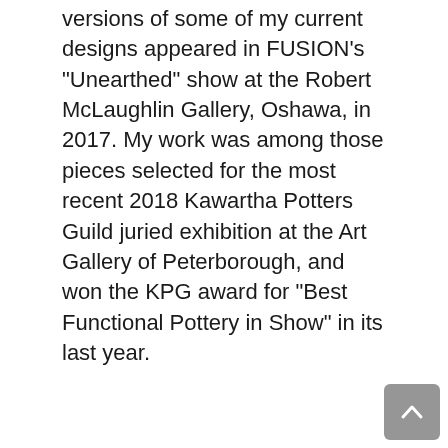versions of some of my current designs appeared in FUSION's “Unearthed” show at the Robert McLaughlin Gallery, Oshawa, in 2017. My work was among those pieces selected for the most recent 2018 Kawartha Potters Guild juried exhibition at the Art Gallery of Peterborough, and won the KPG award for “Best Functional Pottery in Show” in its last year.
My work is currently available at my home studio, as well as at the Kawartha Potters Guild shop and KPG Holiday and Spring shows, in Peterborough, at Artisanity shows, and at the Gallery on the Lake in Buckhorn.
I appreciate the challenge of creating pieces in various designs, shapes, and sizes to suit different hands, purposes, and preferences.